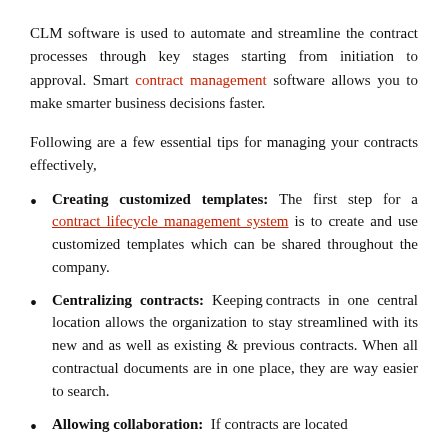CLM software is used to automate and streamline the contract processes through key stages starting from initiation to approval. Smart contract management software allows you to make smarter business decisions faster.
Following are a few essential tips for managing your contracts effectively,
Creating customized templates: The first step for a contract lifecycle management system is to create and use customized templates which can be shared throughout the company.
Centralizing contracts: Keeping contracts in one central location allows the organization to stay streamlined with its new and as well as existing & previous contracts. When all contractual documents are in one place, they are way easier to search.
Allowing collaboration: If contracts are located